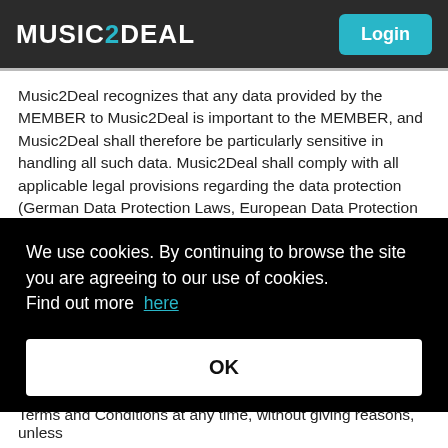MUSIC2DEAL  Login
Music2Deal recognizes that any data provided by the MEMBER to Music2Deal is important to the MEMBER, and Music2Deal shall therefore be particularly sensitive in handling all such data. Music2Deal shall comply with all applicable legal provisions regarding the data protection (German Data Protection Laws, European Data Protection Directives and any other applicable data protection legislation). In particular, Music2Deal shall not provide or otherwise disclose any personal data of the MEMBER to any third party without authorization. Details on Music2Deal's ... most of ...
We use cookies. By continuing to browse the site you are agreeing to our use of cookies. Find out more here
OK
Terms and Conditions at any time, without giving reasons, unless